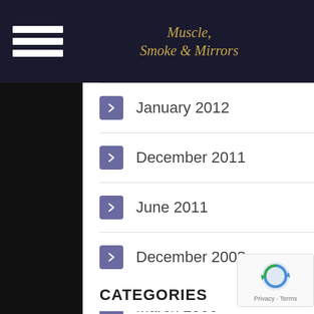Muscle, Smoke & Mirrors
January 2012
December 2011
June 2011
December 2008
March 2006
CATEGORIES